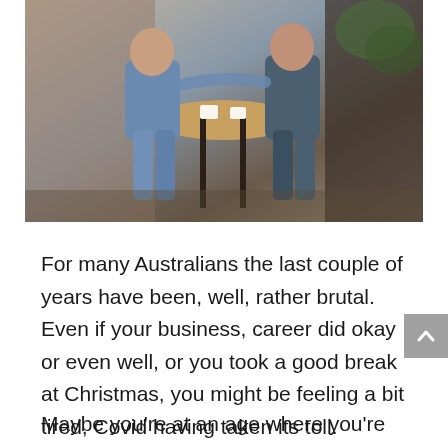[Figure (photo): Two people sitting at a round cafe table, both wearing denim/casual clothing, with coffee cups on the table. Warm, cozy cafe atmosphere with wooden elements.]
For many Australians the last couple of years have been, well, rather brutal. Even if your business, career did okay or even well, or you took a good break at Christmas, you might be feeling a bit tired, Covid having taken its toll.
Maybe you’re at an age where you’re thinking about retirement, maybe bringing those plans